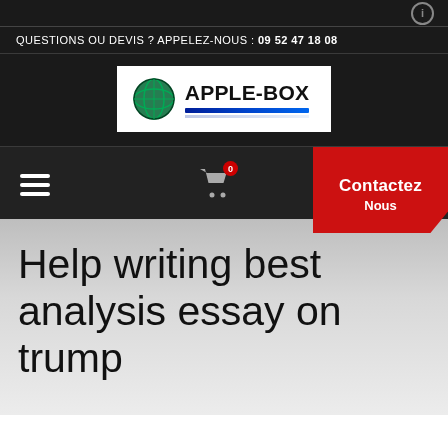[Figure (logo): Apple-Box company logo with globe icon and blue underline bar]
QUESTIONS OU DEVIS ? APPELEZ-NOUS : 09 52 47 18 08
Help writing best analysis essay on trump